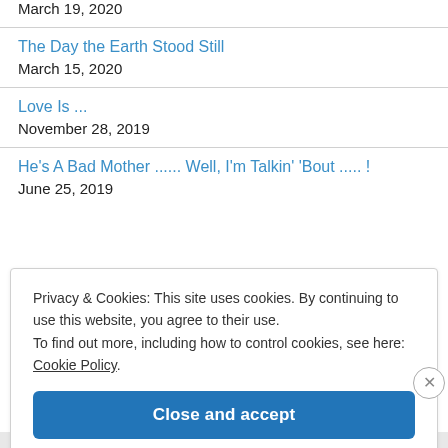March 19, 2020
The Day the Earth Stood Still
March 15, 2020
Love Is ...
November 28, 2019
He's A Bad Mother ...... Well, I'm Talkin' 'Bout ..... !
June 25, 2019
Privacy & Cookies: This site uses cookies. By continuing to use this website, you agree to their use.
To find out more, including how to control cookies, see here: Cookie Policy
Close and accept